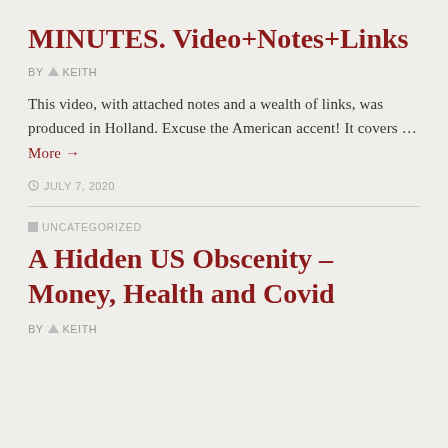MINUTES. Video+Notes+Links
BY  KEITH
This video, with attached notes and a wealth of links, was produced in Holland. Excuse the American accent! It covers … More →
JULY 7, 2020
UNCATEGORIZED
A Hidden US Obscenity – Money, Health and Covid
BY  KEITH